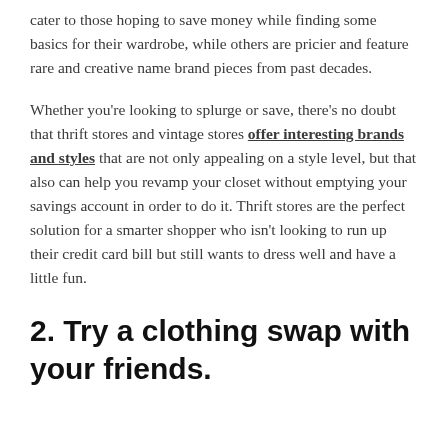cater to those hoping to save money while finding some basics for their wardrobe, while others are pricier and feature rare and creative name brand pieces from past decades.
Whether you're looking to splurge or save, there's no doubt that thrift stores and vintage stores offer interesting brands and styles that are not only appealing on a style level, but that also can help you revamp your closet without emptying your savings account in order to do it. Thrift stores are the perfect solution for a smarter shopper who isn't looking to run up their credit card bill but still wants to dress well and have a little fun.
2. Try a clothing swap with your friends.